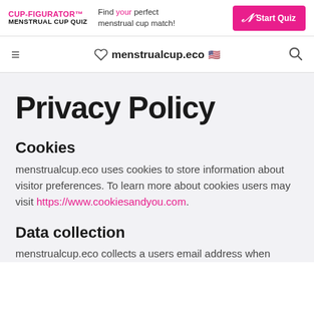[Figure (screenshot): CUP-FIGURATOR™ MENSTRUAL CUP QUIZ banner ad with pink Start Quiz button]
menstrualcup.eco navigation bar with hamburger menu, heart logo, and search icon
Privacy Policy
Cookies
menstrualcup.eco uses cookies to store information about visitor preferences. To learn more about cookies users may visit https://www.cookiesandyou.com.
Data collection
menstrualcup.eco collects a users email address when